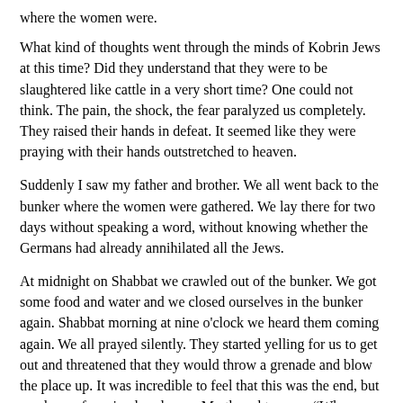where the women were.
What kind of thoughts went through the minds of Kobrin Jews at this time? Did they understand that they were to be slaughtered like cattle in a very short time? One could not think. The pain, the shock, the fear paralyzed us completely. They raised their hands in defeat. It seemed like they were praying with their hands outstretched to heaven.
Suddenly I saw my father and brother. We all went back to the bunker where the women were gathered. We lay there for two days without speaking a word, without knowing whether the Germans had already annihilated all the Jews.
At midnight on Shabbat we crawled out of the bunker. We got some food and water and we closed ourselves in the bunker again. Shabbat morning at nine o'clock we heard them coming again. We all prayed silently. They started yelling for us to get out and threatened that they would throw a grenade and blow the place up. It was incredible to feel that this was the end, but one hopes for miracles always. My thoughts were, “Why should I die so young? I haven't lived enough. Why should I see my parents being shot?” The assault on the bunker interrupted my thoughts. Since they could not find the entrance they started digging a hole in the ceiling. Every strike on the bunker was like a strike on our hearts. I